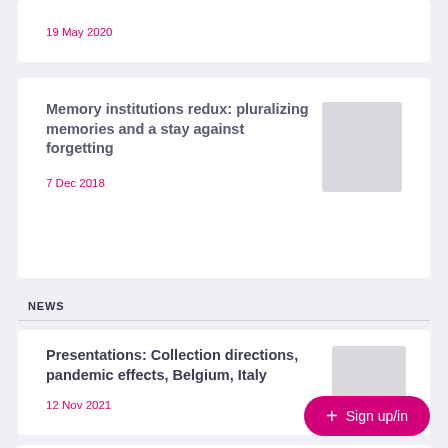19 May 2020
Memory institutions redux: pluralizing memories and a stay against forgetting
7 Dec 2018
NEWS
Presentations: Collection directions, pandemic effects, Belgium, Italy
12 Nov 2021
+ Sign up/in